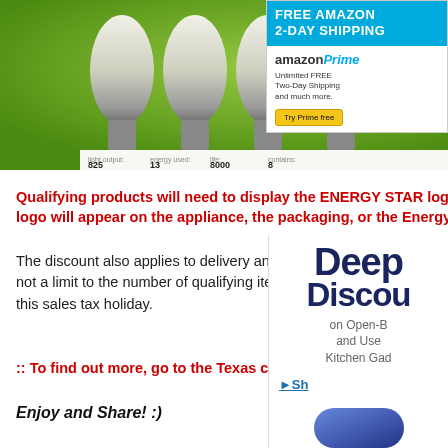[Figure (photo): Product photo of energy-saving CFL light bulbs in a row on green background with specs bar showing light output 825, energy used 13, life 8000, contains 8]
[Figure (advertisement): Amazon Prime FREE AMAZON 2-DAY SHIPPING advertisement with amazonPrime logo, Unlimited FREE Two-Day Shipping and much more, Try Prime free button]
Qualifying products will need to display the ENERGY STAR logo. The logo will appear on the appliance, the packaging, or the Energy Guide label. The discount also applies to delivery and installation fees. There is not a limit to the number of qualifying items you can purchase during this sales tax holiday.
:: To find out more, go to the Texas comp
Enjoy and Share!  :)
[Figure (advertisement): Deep Discounts on Open-Box and Used Kitchen Gadgets advertisement with shop link and blue gadget image]